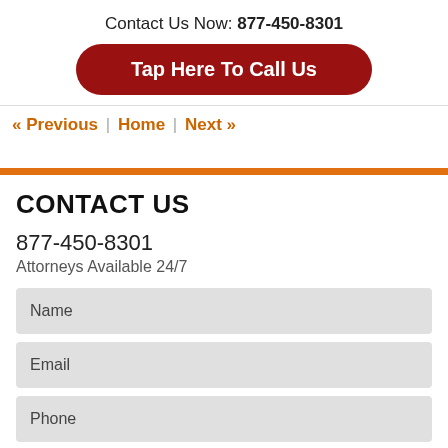Contact Us Now: 877-450-8301
[Figure (other): Red rounded button with text 'Tap Here To Call Us']
« Previous | Home | Next »
CONTACT US
877-450-8301
Attorneys Available 24/7
Name
Email
Phone
Message